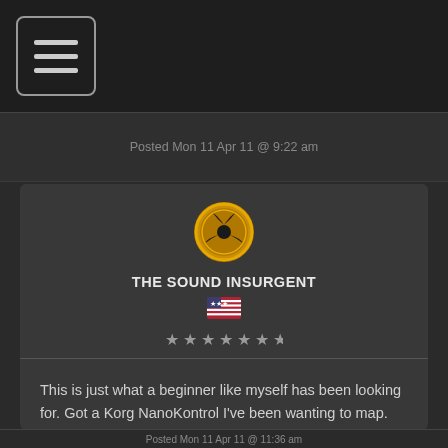[Figure (screenshot): Hamburger menu button icon in top-left corner navigation bar]
Posted Mon 11 Apr 11 @ 9:22 am
[Figure (logo): The Sound Insurgent circular logo with radioactive-style symbol in gold/yellow]
THE SOUND INSURGENT
[Figure (illustration): US flag emoji icon]
[Figure (illustration): Six star rating icons]
This is just what a beginner like myself has been looking for. Got a Korg NanoKontrol I've been wanting to map.

Can't wait to try this out
Huey
Posted Mon 11 Apr 11 @ 11:36 am